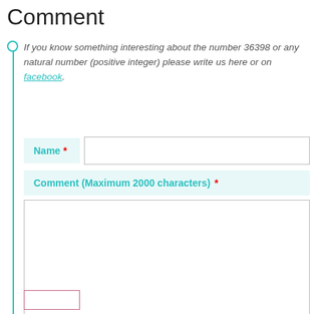Comment
If you know something interesting about the number 36398 or any natural number (positive integer) please write us here or on facebook.
Name *
Comment (Maximum 2000 characters) *